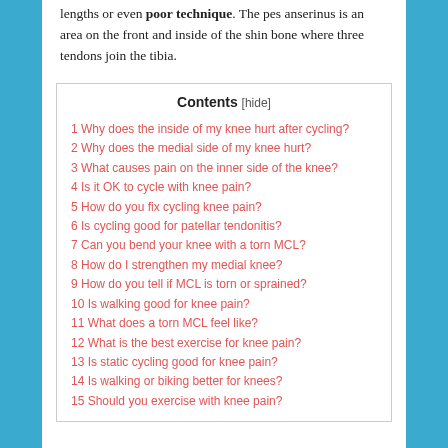lengths or even poor technique. The pes anserinus is an area on the front and inside of the shin bone where three tendons join the tibia.
Contents [hide]
1 Why does the inside of my knee hurt after cycling?
2 Why does the medial side of my knee hurt?
3 What causes pain on the inner side of the knee?
4 Is it OK to cycle with knee pain?
5 How do you fix cycling knee pain?
6 Is cycling good for patellar tendonitis?
7 Can you bend your knee with a torn MCL?
8 How do I strengthen my medial knee?
9 How do you tell if MCL is torn or sprained?
10 Is walking good for knee pain?
11 What does a torn MCL feel like?
12 What is the best exercise for knee pain?
13 Is static cycling good for knee pain?
14 Is walking or biking better for knees?
15 Should you exercise with knee pain?